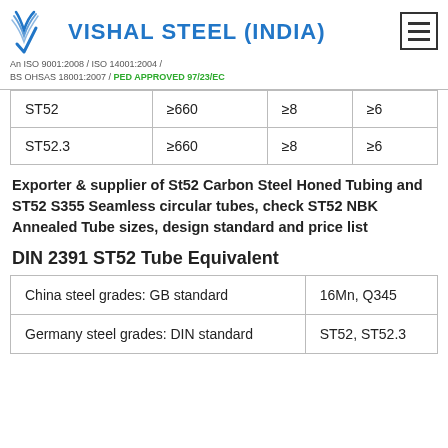VISHAL STEEL (INDIA) — An ISO 9001:2008 / ISO 14001:2004 / BS OHSAS 18001:2007 / PED APPROVED 97/23/EC
| Grade | Min UTS | Min Elong. | Col4 |
| --- | --- | --- | --- |
| ST52 | ≥660 | ≥8 | ≥6 |
| ST52.3 | ≥660 | ≥8 | ≥6 |
Exporter & supplier of St52 Carbon Steel Honed Tubing and ST52 S355 Seamless circular tubes, check ST52 NBK Annealed Tube sizes, design standard and price list
DIN 2391 ST52 Tube Equivalent
| Standard | Grade |
| --- | --- |
| China steel grades: GB standard | 16Mn, Q345 |
| Germany steel grades: DIN standard | ST52, ST52.3 |